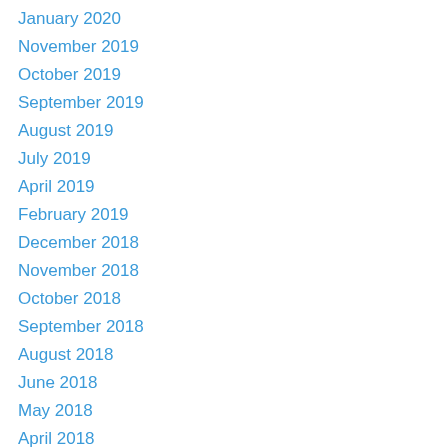January 2020
November 2019
October 2019
September 2019
August 2019
July 2019
April 2019
February 2019
December 2018
November 2018
October 2018
September 2018
August 2018
June 2018
May 2018
April 2018
March 2018
November 2017
August 2017
July 2017